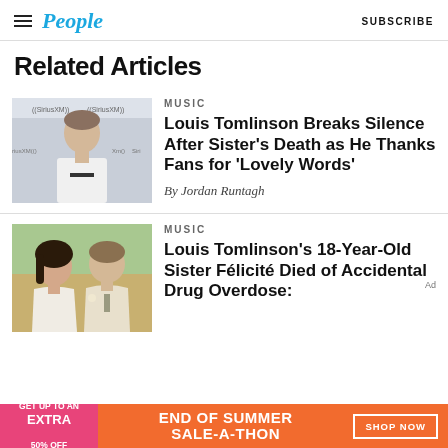People | SUBSCRIBE
Related Articles
[Figure (photo): Man standing at SiriusXM event with SiriusXM logos in background]
MUSIC
Louis Tomlinson Breaks Silence After Sister’s Death as He Thanks Fans for ‘Lovely Words’
By Jordan Runtagh
[Figure (photo): Two people smiling together at an outdoor event]
MUSIC
Louis Tomlinson’s 18-Year-Old Sister Félicité Died of Accidental Drug Overdose:
Ad
GET UP TO AN EXTRA 50% OFF  END OF SUMMER SALE-A-THON  SHOP NOW